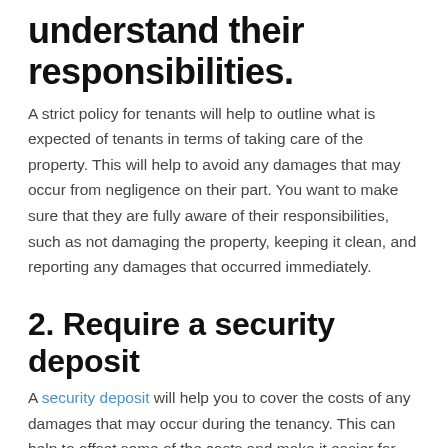understand their responsibilities.
A strict policy for tenants will help to outline what is expected of tenants in terms of taking care of the property. This will help to avoid any damages that may occur from negligence on their part. You want to make sure that they are fully aware of their responsibilities, such as not damaging the property, keeping it clean, and reporting any damages that occurred immediately.
2. Require a security deposit
A security deposit will help you to cover the costs of any damages that may occur during the tenancy. This can help to offset some of the costs and make it easier for you to repair any damages that do occur. Although, you will want to make sure that you return the deposit to the tenant if there are no damages at the end of the tenancy.